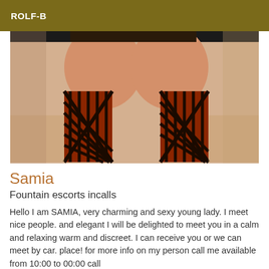ROLF-B
[Figure (photo): A photo showing the lower body of a person wearing fishnet stockings, viewed from behind.]
Samia
Fountain escorts incalls
Hello I am SAMIA, very charming and sexy young lady. I meet nice people. and elegant I will be delighted to meet you in a calm and relaxing warm and discreet. I can receive you or we can meet by car. place! for more info on my person call me available from 10:00 to 00:00 call